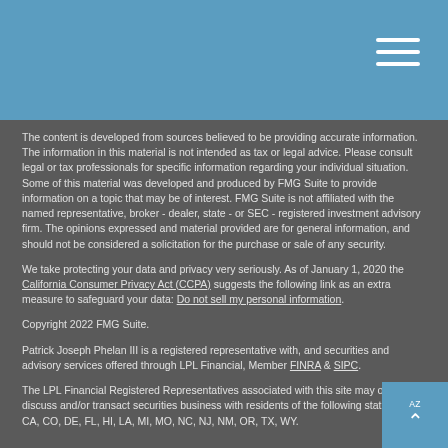The content is developed from sources believed to be providing accurate information. The information in this material is not intended as tax or legal advice. Please consult legal or tax professionals for specific information regarding your individual situation. Some of this material was developed and produced by FMG Suite to provide information on a topic that may be of interest. FMG Suite is not affiliated with the named representative, broker - dealer, state - or SEC - registered investment advisory firm. The opinions expressed and material provided are for general information, and should not be considered a solicitation for the purchase or sale of any security.
We take protecting your data and privacy very seriously. As of January 1, 2020 the California Consumer Privacy Act (CCPA) suggests the following link as an extra measure to safeguard your data: Do not sell my personal information.
Copyright 2022 FMG Suite.
Patrick Joseph Phelan III is a registered representative with, and securities and advisory services offered through LPL Financial, Member FINRA & SIPC.
The LPL Financial Registered Representatives associated with this site may only discuss and/or transact securities business with residents of the following states: AZ, CA, CO, DE, FL, HI, LA, MI, MO, NC, NJ, NM, OR, TX, WY.